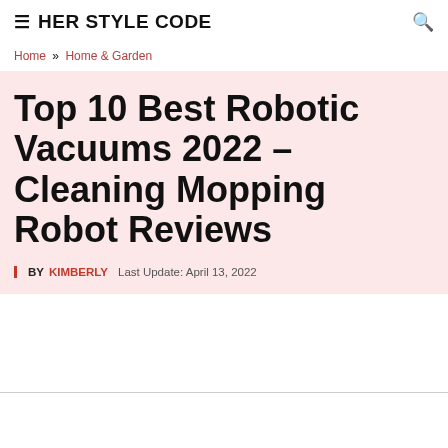≡ HER STYLE CODE 🔍
Home » Home & Garden
Top 10 Best Robotic Vacuums 2022 – Cleaning Mopping Robot Reviews
BY KIMBERLY   Last Update: April 13, 2022